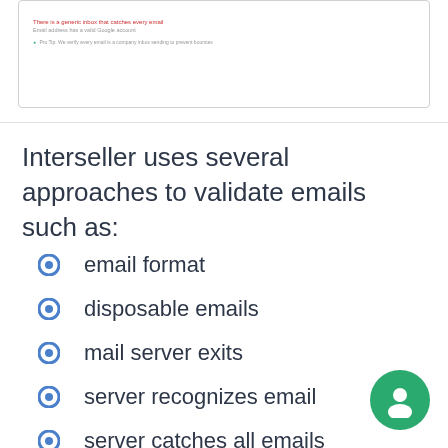[Figure (screenshot): Partial screenshot of the Interseller email validation interface showing a red error message 'There is a generic inbox that catches every email', a gray subtitle 'Email address has a valid Google account', and a green Pro Tip note about email verification.]
Interseller uses several approaches to validate emails such as:
email format
disposable emails
mail server exits
server recognizes email
server catches all emails
google account exists